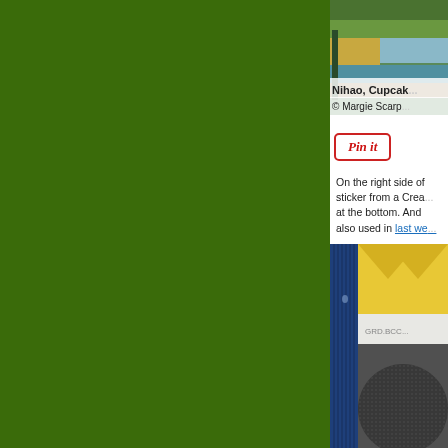[Figure (photo): Green background panel taking up left portion of page]
[Figure (photo): Coastal landscape photo partially visible on right side showing rocky shore, water, and vegetation with overlaid text 'Nihao, Cupcak...' and '© Margie Scarp...']
[Figure (other): Pinterest 'Pin it' button in red and white]
On the right side of... sticker from a Crea... at the bottom. And ... also used in last we...
[Figure (photo): Craft supplies photo showing blue corrugated material, yellow paper with chevron pattern, gray textured material partially visible on right side]